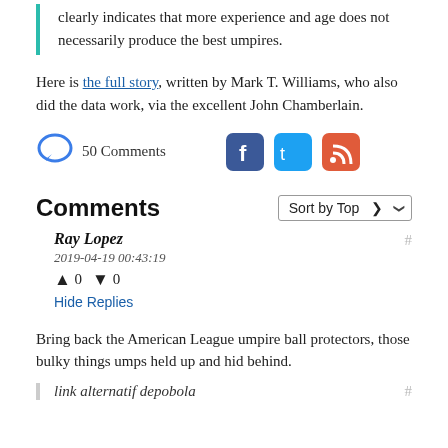clearly indicates that more experience and age does not necessarily produce the best umpires.
Here is the full story, written by Mark T. Williams, who also did the data work, via the excellent John Chamberlain.
50 Comments
Comments
Ray Lopez
2019-04-19 00:43:19
↑ 0 ↓ 0
Hide Replies
Bring back the American League umpire ball protectors, those bulky things umps held up and hid behind.
link alternatif depobola